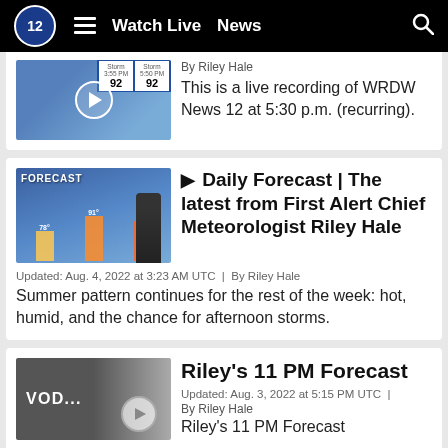Watch Live  News
[Figure (screenshot): Thumbnail showing weather broadcast with score boxes showing 92 and 92]
By Riley Hale
This is a live recording of WRDW News 12 at 5:30 p.m. (recurring).
[Figure (screenshot): Weather forecast thumbnail showing FORECAST label with meteorologist and temperature bars]
Daily Forecast | The latest from First Alert Chief Meteorologist Riley Hale
Updated: Aug. 4, 2022 at 3:23 AM UTC  |  By Riley Hale
Summer pattern continues for the rest of the week: hot, humid, and the chance for afternoon storms.
[Figure (screenshot): VOD thumbnail with gray gradient]
Riley's 11 PM Forecast
Updated: Aug. 3, 2022 at 5:15 PM UTC  |
By Riley Hale
Riley's 11 PM Forecast